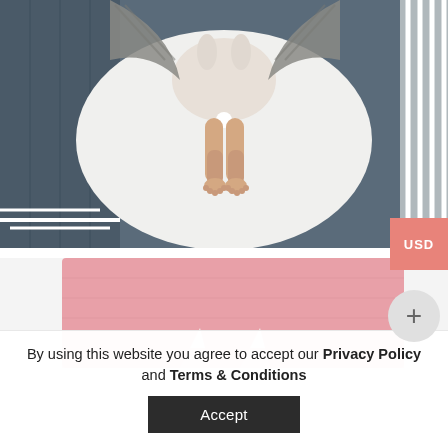[Figure (photo): Aerial/top-down view of a baby lying in a white oval crib/bassinet with white slats visible around the sides. Baby wearing a bunny onesie/outfit. Gray knit blanket visible. Dark wood floor visible around the crib. White crib rails visible on the right.]
[Figure (photo): Partial view of a pink knitted baby blanket with white bunny ear design on it, shown from above.]
By using this website you agree to accept our Privacy Policy and Terms & Conditions
Accept